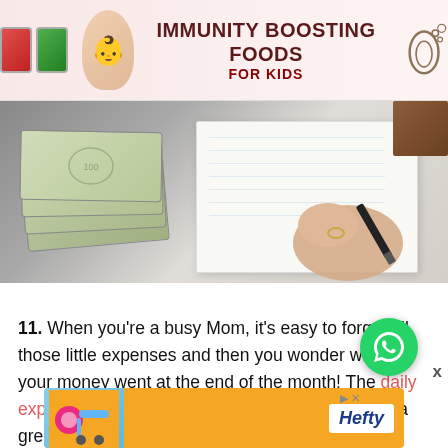[Figure (photo): Advertisement banner for Immunity Boosting Foods for Kids, showing food packets, baby, and decorative icons]
[Figure (photo): Photo of US dollar bills stacked on a surface next to a hand writing on a notepad with a black pen, and a brown object in the top right corner]
11. When you're a busy Mom, it's easy to forget all those little expenses and then you wonder where your money went at the end of the month! The daily expense tracker from Pinch a Little Save a Lot is a great way to keep track of every single penny or paisa, and you can even jot down how you paid and whether it was a necessary
[Figure (other): WhatsApp floating button overlay and advertisement banner for Hefty at the bottom]